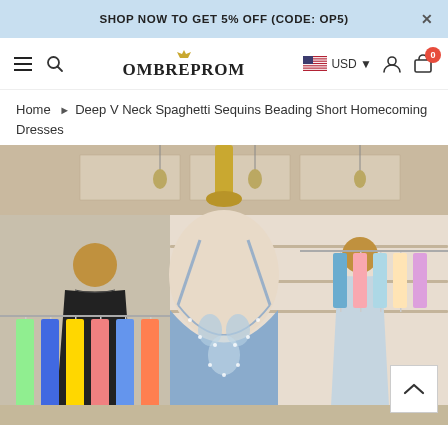SHOP NOW TO GET 5% OFF (CODE: OP5)
[Figure (logo): OmbreProm logo with crown above text]
Home > Deep V Neck Spaghetti Sequins Beading Short Homecoming Dresses
[Figure (photo): Store display showing a mannequin wearing a deep V neck spaghetti strap sequins and beading short homecoming dress in silver/blue, inside a clothing boutique with other dresses on racks in background]